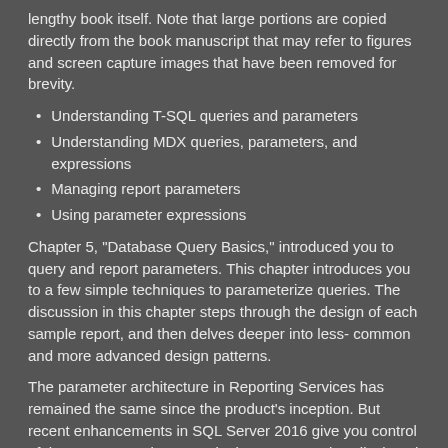lengthy book itself. Note that large portions are copied directly from the book manuscript that may refer to figures and screen capture images that have been removed for brevity.
Understanding T-SQL queries and parameters
Understanding MDX queries, parameters, and expressions
Managing report parameters
Using parameter expressions
Chapter 5, "Database Query Basics," introduced you to query and report parameters. This chapter introduces you to a few simple techniques to parameterize queries. The discussion in this chapter steps through the design of each sample report, and then delves deeper into less- common and more advanced design patterns.
The parameter architecture in Reporting Services has remained the same since the product's inception. But recent enhancements in SQL Server 2016 give you control of the parameter placement in the parameter bar displayed at the top of the browser. In this chapter, you see how to define specialized parameter items you can use to return all (or a range of) dataset records with a single parameter selection. Many of the same techniques can be used with MDX